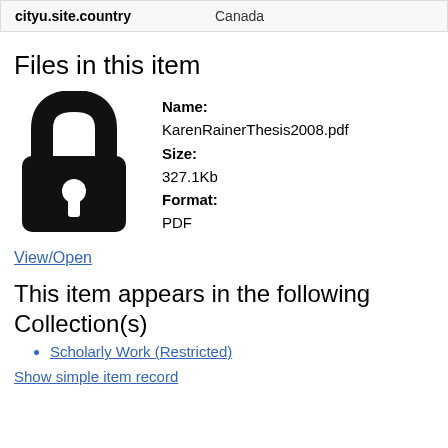| cityu.site.country | Canada |
| --- | --- |
Files in this item
[Figure (illustration): Black padlock icon indicating restricted/locked file]
Name:
KarenRainerThesis2008.pdf
Size:
327.1Kb
Format:
PDF
View/Open
This item appears in the following Collection(s)
Scholarly Work (Restricted)
Show simple item record